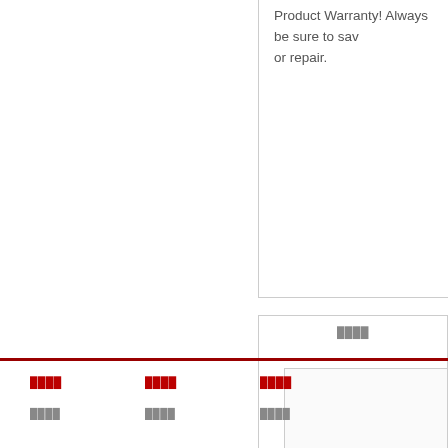Product Warranty! Always be sure to save or repair.
████
[Figure (photo): Product image placeholder left]
[Figure (photo): Product image placeholder right]
9████Televue 2X,3X Barlow TV ████ ███████ ████
██ Televue ate - 2" ██
████  ████  ████
████  ████  ████